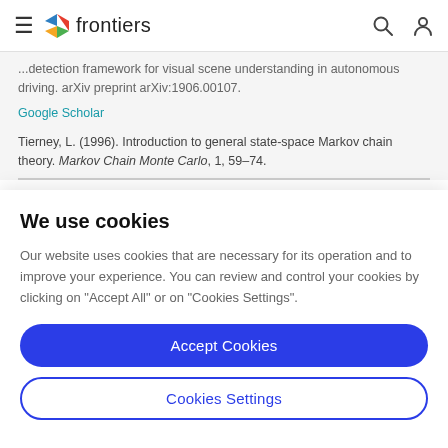frontiers
...detection framework for visual scene understanding in autonomous driving. arXiv preprint arXiv:1906.00107.
Google Scholar
Tierney, L. (1996). Introduction to general state-space Markov chain theory. Markov Chain Monte Carlo, 1, 59–74.
We use cookies
Our website uses cookies that are necessary for its operation and to improve your experience. You can review and control your cookies by clicking on "Accept All" or on "Cookies Settings".
Accept Cookies
Cookies Settings